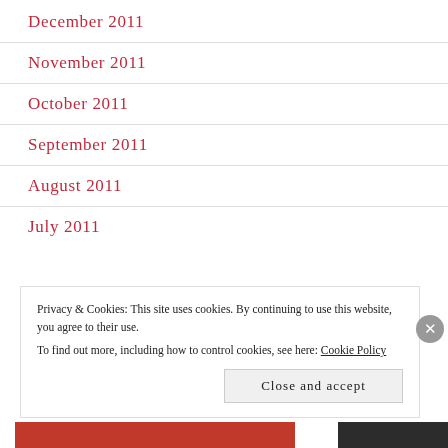December 2011
November 2011
October 2011
September 2011
August 2011
July 2011
Privacy & Cookies: This site uses cookies. By continuing to use this website, you agree to their use.
To find out more, including how to control cookies, see here: Cookie Policy
Close and accept